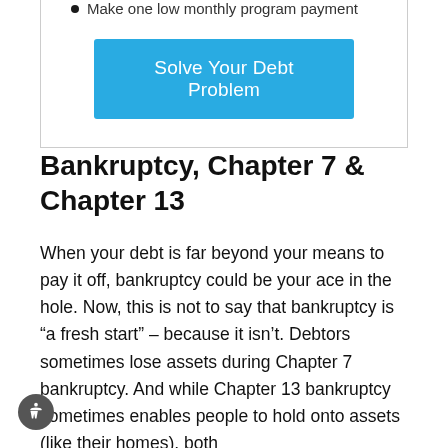Make one low monthly program payment
[Figure (other): Blue CTA button labeled 'Solve Your Debt Problem']
Bankruptcy, Chapter 7 & Chapter 13
When your debt is far beyond your means to pay it off, bankruptcy could be your ace in the hole. Now, this is not to say that bankruptcy is “a fresh start” – because it isn’t. Debtors sometimes lose assets during Chapter 7 bankruptcy. And while Chapter 13 bankruptcy sometimes enables people to hold onto assets (like their homes), both